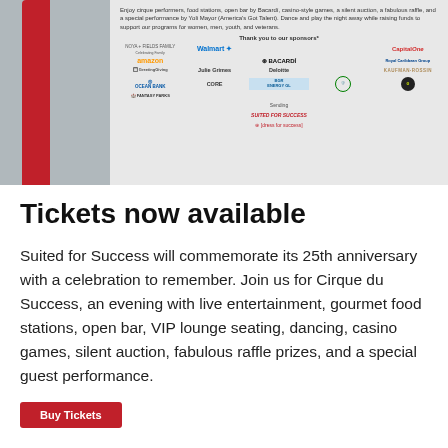[Figure (photo): Event promotional image showing a cirque/aerial performer in red and teal costume against red curtain backdrop, alongside sponsor logos including Walmart, Capital One, Amazon, Bacardi, Royal Caribbean, Julie Grimes, Deloitte, Kaufman Rossin, Ocean Bank, CORE, BGR Energy, and others. Text promotes Cirque du Success 25th anniversary event with food stations, open bar, casino games, silent auction, special performance by Yoli Mayor.]
Tickets now available
Suited for Success will commemorate its 25th anniversary with a celebration to remember. Join us for Cirque du Success, an evening with live entertainment, gourmet food stations, open bar, VIP lounge seating, dancing, casino games, silent auction, fabulous raffle prizes, and a special guest performance.